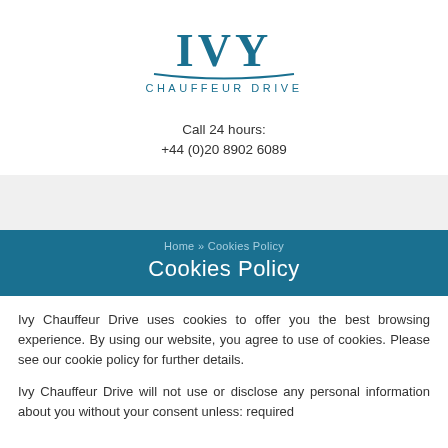[Figure (logo): IVY Chauffeur Drive logo with teal text and decorative swoosh line]
Call 24 hours:
+44 (0)20 8902 6089
Home » Cookies Policy
Cookies Policy
Ivy Chauffeur Drive uses cookies to offer you the best browsing experience. By using our website, you agree to use of cookies. Please see our cookie policy for further details.
Ivy Chauffeur Drive will not use or disclose any personal information about you without your consent unless: required